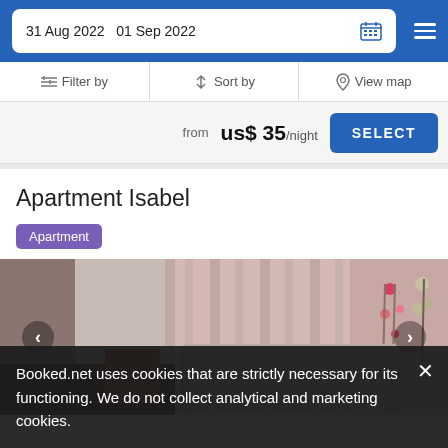31 Aug 2022  01 Sep 2022
Filter by  Sort by  View map
from us$ 35/night  SELECT
Apartment Isabel
Apartment
[Figure (photo): Interior photo of a living room with pink curtains, a patterned sofa, and a wooden table. Navigation arrows visible on left and right.]
Booked.net uses cookies that are strictly necessary for its functioning. We do not collect analytical and marketing cookies.